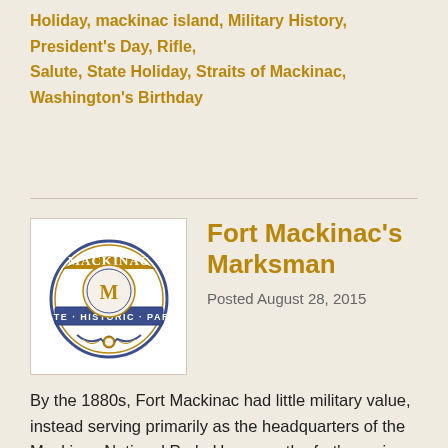Holiday, mackinac island, Military History, President's Day, Rifle, Salute, State Holiday, Straits of Mackinac, Washington's Birthday
[Figure (logo): Mackinac State Historic Parks logo: circular badge with ornate blue and gold border, the word MACKINAC in gold banner at top, STATE · HISTORIC · PARKS in blue banner below, decorative scrollwork at bottom, central medallion.]
Fort Mackinac's Marksman
Posted August 28, 2015
By the 1880s, Fort Mackinac had little military value, instead serving primarily as the headquarters of the Mackinac National Park. However, the fort's garrison still practiced critical military skills such as marksmanship, and